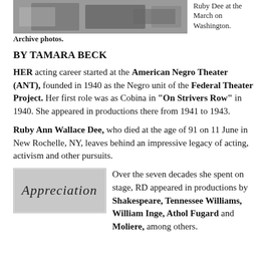[Figure (photo): Black and white photo of Ruby Dee at the March on Washington]
Ruby Dee at the March on Washington. Archive photos.
BY TAMARA BECK
HER acting career started at the American Negro Theater (ANT), founded in 1940 as the Negro unit of the Federal Theater Project. Her first role was as Cobina in "On Strivers Row" in 1940. She appeared in productions there from 1941 to 1943.
Ruby Ann Wallace Dee, who died at the age of 91 on 11 June in New Rochelle, NY, leaves behind an impressive legacy of acting, activism and other pursuits.
[Figure (photo): Image with italic text reading 'Appreciation']
Over the seven decades she spent on stage, RD appeared in productions by Shakespeare, Tennessee Williams, William Inge, Athol Fugard and Moliere, among others.